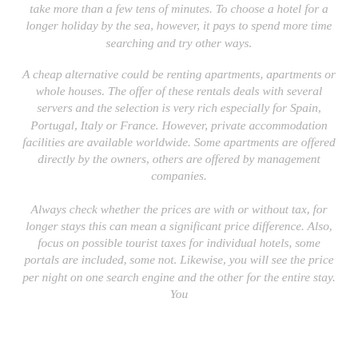take more than a few tens of minutes. To choose a hotel for a longer holiday by the sea, however, it pays to spend more time searching and try other ways.
A cheap alternative could be renting apartments, apartments or whole houses. The offer of these rentals deals with several servers and the selection is very rich especially for Spain, Portugal, Italy or France. However, private accommodation facilities are available worldwide. Some apartments are offered directly by the owners, others are offered by management companies.
Always check whether the prices are with or without tax, for longer stays this can mean a significant price difference. Also, focus on possible tourist taxes for individual hotels, some portals are included, some not. Likewise, you will see the price per night on one search engine and the other for the entire stay. You